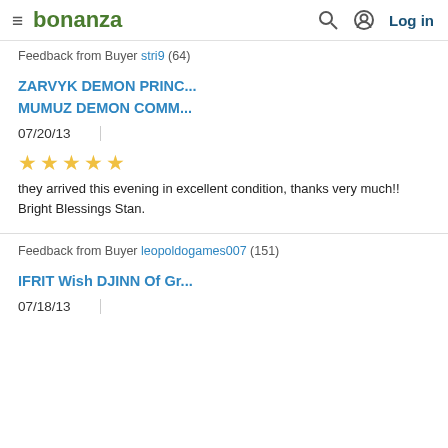bonanza | Log in
Feedback from Buyer stri9 (64)
ZARVYK DEMON PRINC...
MUMUZ DEMON COMM...
07/20/13
★★★★★
they arrived this evening in excellent condition, thanks very much!! Bright Blessings Stan.
Feedback from Buyer leopoldogames007 (151)
IFRIT Wish DJINN Of Gr...
07/18/13